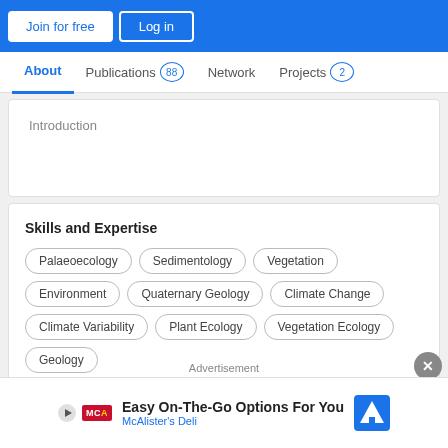[Figure (screenshot): Navigation bar with Join for free and Log in buttons on blue background]
About
Publications 88
Network
Projects 2
Introduction
Skills and Expertise
Palaeoecology
Sedimentology
Vegetation
Environment
Quaternary Geology
Climate Change
Climate Variability
Plant Ecology
Vegetation Ecology
Geology
Publications
Advertisement
Easy On-The-Go Options For You
McAlister's Deli